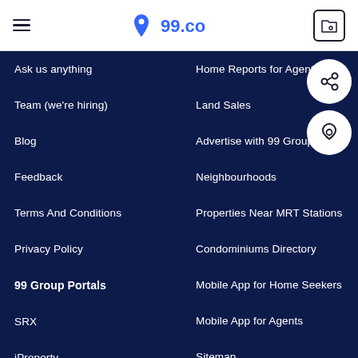99.co
Ask us anything
Home Reports for Agents
Team (we're hiring)
Land Sales
Blog
Advertise with 99 Group
Feedback
Neighbourhoods
Terms And Conditions
Properties Near MRT Stations
Privacy Policy
Condominiums Directory
99 Group Portals
Mobile App for Home Seekers
SRX
Mobile App for Agents
iProperty
Sitemap